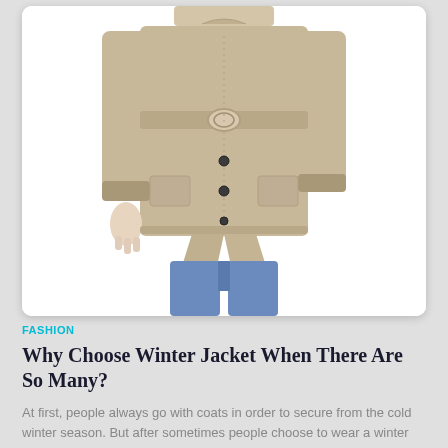[Figure (photo): Person wearing a beige/khaki belted winter jacket with dark buttons and blue jeans, photographed from neck to knees against a white background.]
FASHION
Why Choose Winter Jacket When There Are So Many?
At first, people always go with coats in order to secure from the cold winter season. But after sometimes people choose to wear a winter jacket why because it is more